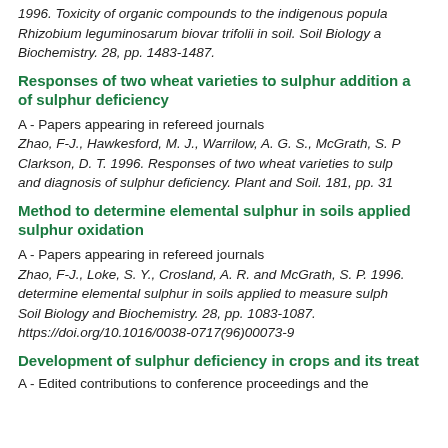1996. Toxicity of organic compounds to the indigenous popula-
Rhizobium leguminosarum biovar trifolii in soil. Soil Biology a-
Biochemistry. 28, pp. 1483-1487.
Responses of two wheat varieties to sulphur addition a-
of sulphur deficiency
A - Papers appearing in refereed journals
Zhao, F-J., Hawkesford, M. J., Warrilow, A. G. S., McGrath, S. P-
Clarkson, D. T. 1996. Responses of two wheat varieties to sulph-
and diagnosis of sulphur deficiency. Plant and Soil. 181, pp. 31-
Method to determine elemental sulphur in soils applied-
sulphur oxidation
A - Papers appearing in refereed journals
Zhao, F-J., Loke, S. Y., Crosland, A. R. and McGrath, S. P. 1996.-
determine elemental sulphur in soils applied to measure sulph-
Soil Biology and Biochemistry. 28, pp. 1083-1087.
https://doi.org/10.1016/0038-0717(96)00073-9
Development of sulphur deficiency in crops and its treat-
A - Edited contributions to conference proceedings and the-